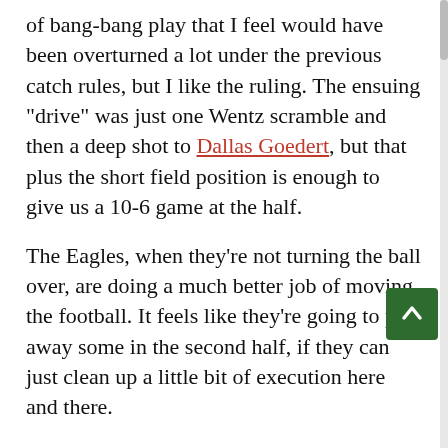of bang-bang play that I feel would have been overturned a lot under the previous catch rules, but I like the ruling. The ensuing "drive" was just one Wentz scramble and then a deep shot to Dallas Goedert, but that plus the short field position is enough to give us a 10-6 game at the half.
The Eagles, when they're not turning the ball over, are doing a much better job of moving the football. It feels like they're going to pull away some in the second half, if they can just clean up a little bit of execution here and there.
Andrew Potter: The 10-6 lead is certainly indicative of which is the better team, but also of the type of game it is. One big play in either direction could swing it -- or, perhaps, one big injury, as Jalen Mills becomes the second Eagles starter to leave with an injury that is likely to at least keep him out for the rest of the game. Both